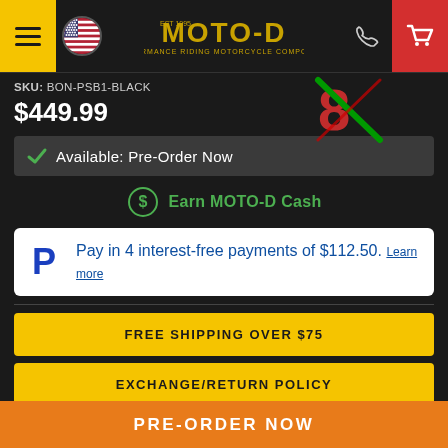MOTO-D Performance Riding Motorcycle Components - navigation header with hamburger menu, US flag, logo, phone icon, and cart icon
SKU: BON-PSB1-BLACK
$449.99
Available: Pre-Order Now
Earn MOTO-D Cash
Pay in 4 interest-free payments of $112.50. Learn more
FREE SHIPPING OVER $75
EXCHANGE/RETURN POLICY
PRE-ORDER NOW